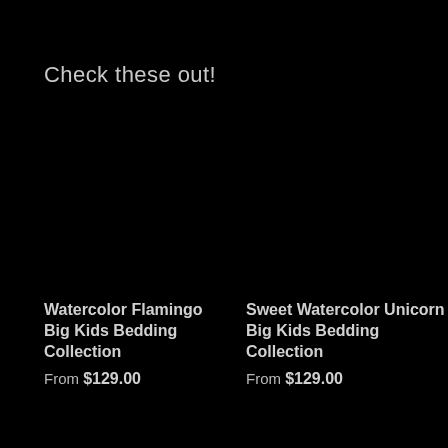Check these out!
Watercolor Flamingo Big Kids Bedding Collection
From $129.00
Sweet Watercolor Unicorn Big Kids Bedding Collection
From $129.00